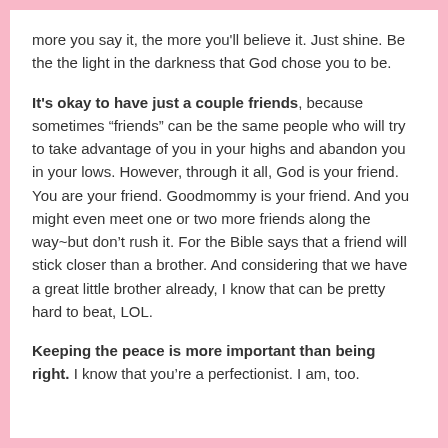more you say it, the more you'll believe it. Just shine. Be the the light in the darkness that God chose you to be.
It's okay to have just a couple friends, because sometimes “friends” can be the same people who will try to take advantage of you in your highs and abandon you in your lows. However, through it all, God is your friend. You are your friend. Goodmommy is your friend. And you might even meet one or two more friends along the way~but don’t rush it. For the Bible says that a friend will stick closer than a brother. And considering that we have a great little brother already, I know that can be pretty hard to beat, LOL.
Keeping the peace is more important than being right. I know that you’re a perfectionist. I am, too.